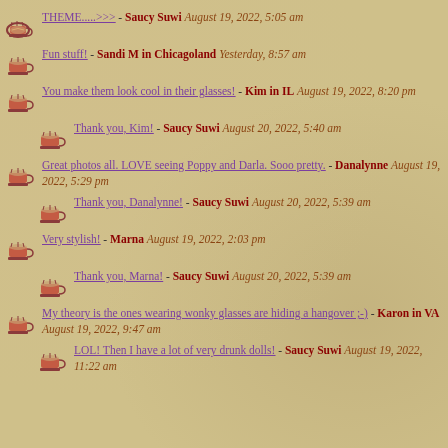THEME.....>>> - Saucy Suwi August 19, 2022, 5:05 am
Fun stuff! - Sandi M in Chicagoland Yesterday, 8:57 am
You make them look cool in their glasses! - Kim in IL August 19, 2022, 8:20 pm
Thank you, Kim! - Saucy Suwi August 20, 2022, 5:40 am
Great photos all. LOVE seeing Poppy and Darla. Sooo pretty. - Danalynne August 19, 2022, 5:29 pm
Thank you, Danalynne! - Saucy Suwi August 20, 2022, 5:39 am
Very stylish! - Marna August 19, 2022, 2:03 pm
Thank you, Marna! - Saucy Suwi August 20, 2022, 5:39 am
My theory is the ones wearing wonky glasses are hiding a hangover ;-) - Karon in VA August 19, 2022, 9:47 am
LOL! Then I have a lot of very drunk dolls! - Saucy Suwi August 19, 2022, 11:22 am